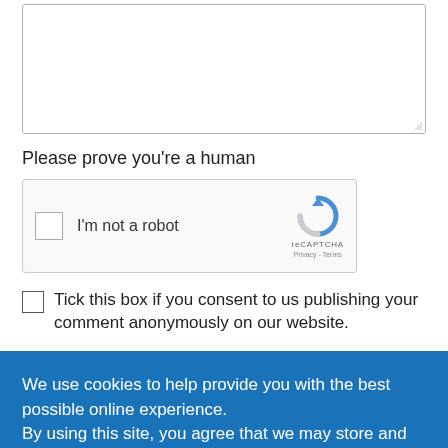[Figure (screenshot): A textarea input box with resize handle in bottom-right corner]
Please prove you're a human
[Figure (screenshot): reCAPTCHA widget with checkbox labeled 'I'm not a robot' and reCAPTCHA logo with Privacy - Terms links]
Tick this box if you consent to us publishing your comment anonymously on our website.
We use cookies to help provide you with the best possible online experience.
By using this site, you agree that we may store and access cookies on your device. Cookie policy. Cookie settings.
ACCEPT